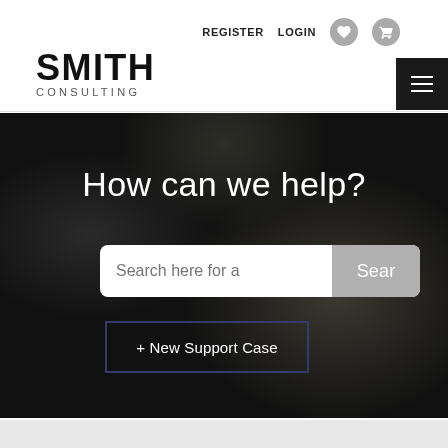REGISTER  LOGIN
[Figure (logo): Smith Consulting logo with bold SMITH text and CONSULTING in small caps below]
How can we help?
[Figure (screenshot): Search input bar with placeholder text 'Search here for a' and a 'Sear' (Search) button in gray]
+ New Support Case